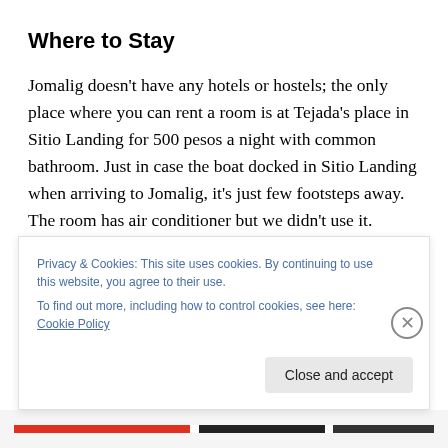Where to Stay
Jomalig doesn't have any hotels or hostels; the only place where you can rent a room is at Tejada's place in Sitio Landing for 500 pesos a night with common bathroom. Just in case the boat docked in Sitio Landing when arriving to Jomalig, it's just few footsteps away. The room has air conditioner but we didn't use it. Besides, the island only has electricity from 6pm – 1am, supplied by generators from NAPOCOR. They also have a room with
Privacy & Cookies: This site uses cookies. By continuing to use this website, you agree to their use.
To find out more, including how to control cookies, see here: Cookie Policy